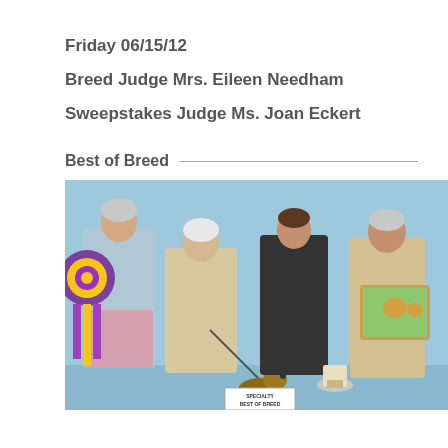Friday 06/15/12
Breed Judge Mrs. Eileen Needham
Sweepstakes Judge Ms. Joan Eckert
Best of Breed
[Figure (photo): Four people standing in front of a light blue background. The leftmost person holds a large purple and gold ribbon/rosette. The second person from left is older with white hair, holding a dog's leash. A dog (Yorkshire Terrier) is visible at the bottom center. The third person wears a black jacket. The rightmost person holds a decorative wooden plaque with a dog painting. A sign at the bottom reads 'SPECIALTY BEST OF BREED'.]